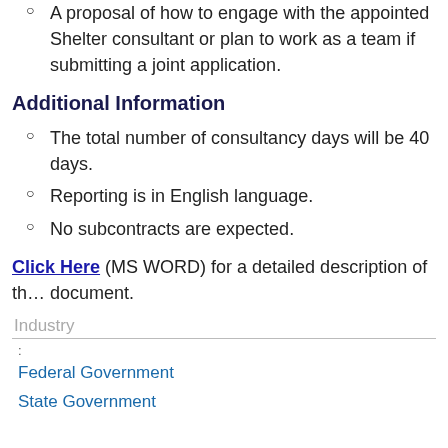A proposal of how to engage with the appointed Shelter consultant or plan to work as a team if submitting a joint application.
Additional Information
The total number of consultancy days will be 40 days.
Reporting is in English language.
No subcontracts are expected.
Click Here (MS WORD) for a detailed description of the document.
Industry
Federal Government
State Government